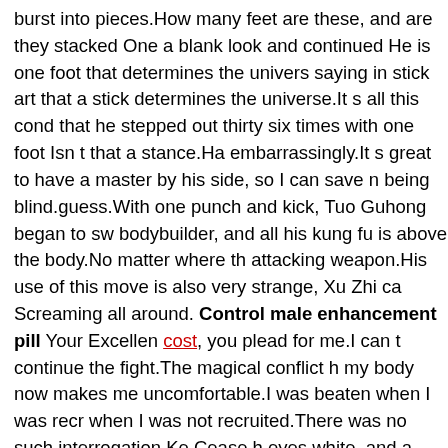burst into pieces.How many feet are these, and are they stacked One a blank look and continued He is one foot that determines the univers saying in stick art that a stick determines the universe.It s all this cond that he stepped out thirty six times with one foot Isn t that a stance.Ha embarrassingly.It s great to have a master by his side, so I can save n being blind.guess.With one punch and kick, Tuo Guhong began to sw bodybuilder, and all his kung fu is above the body.No matter where th attacking weapon.His use of this move is also very strange, Xu Zhi ca Screaming all around. Control male enhancement pill Your Excellen cost, you plead for me.I can t continue the fight.The magical conflict h my body now makes me uncomfortable.I was beaten when I was recr when I was not recruited.There was no such interrogation.Ke Cease h eyes white, and a mixture of foam and blood sprayed out.Koko, no m won t do bad things next time.With the existence of a life magic maste for Kotzes to die.Of course, he wants to live safely and securely.It s th man is in trouble this time.Doug Wooge hates people who disrupt his process.The accidents that happen mean that many uncontrollable fa in.Originally, it was only Platlan Black Sword from the kingdom of the it is inexplicably going to provoke an underground sect.Compared wit to be dealt with on the face, the intricacies of the underground sects a